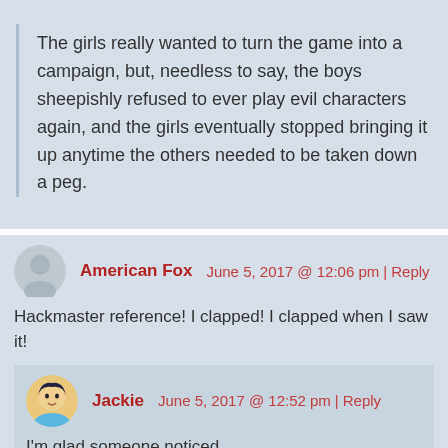The girls really wanted to turn the game into a campaign, but, needless to say, the boys sheepishly refused to ever play evil characters again, and the girls eventually stopped bringing it up anytime the others needed to be taken down a peg.
American Fox   June 5, 2017 @ 12:06 pm | Reply
Hackmaster reference! I clapped! I clapped when I saw it!
Jackie   June 5, 2017 @ 12:52 pm | Reply
I'm glad someone noticed.
Model_S   June 5, 2017 @ 2:09 pm | Reply
My friend change is a running communist pixie druid. It's epic